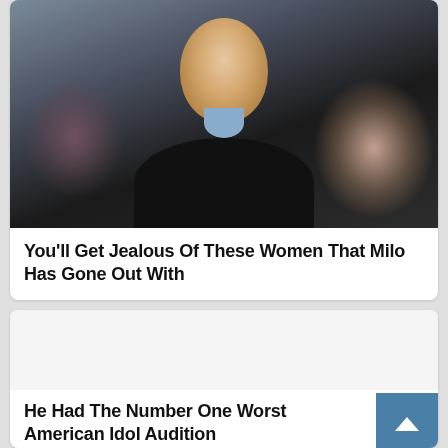[Figure (photo): Smiling man with beard wearing a black sweater over a light blue shirt, sitting in what appears to be a TV studio audience setting. He is holding his hand near his face and smiling broadly. A woman is visible blurred in the background.]
You'll Get Jealous Of These Women That Milo Has Gone Out With
[Figure (photo): Empty white placeholder image area for a second article thumbnail]
He Had The Number One Worst American Idol Audition